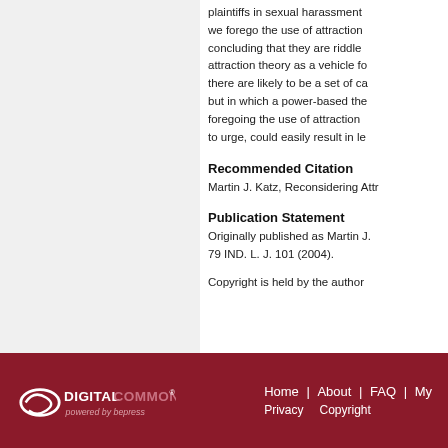plaintiffs in sexual harassment cases. Second, we forego the use of attraction theory, concluding that they are riddled with problems. attraction theory as a vehicle for there are likely to be a set of cases but in which a power-based the foregoing the use of attraction to urge, could easily result in le
Recommended Citation
Martin J. Katz, Reconsidering Attr
Publication Statement
Originally published as Martin J. 79 IND. L. J. 101 (2004).
Copyright is held by the author
Home | About | FAQ | My | Privacy | Copyright